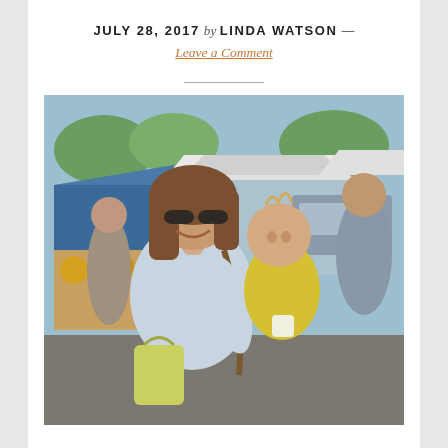JULY 28, 2017 by LINDA WATSON —
Leave a Comment
[Figure (photo): A smiling woman with sunglasses holding a toddler in a yellow shirt at an outdoor farmers market. The woman carries a green tote bag. Other market visitors and white canopy tents are visible in the background.]